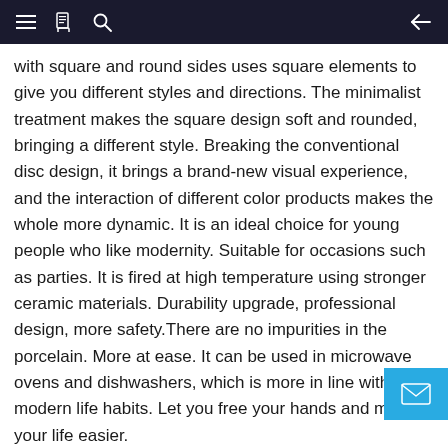Navigation bar with hamburger menu, book icon, search icon, and back arrow
with square and round sides uses square elements to give you different styles and directions. The minimalist treatment makes the square design soft and rounded, bringing a different style. Breaking the conventional disc design, it brings a brand-new visual experience, and the interaction of different color products makes the whole more dynamic. It is an ideal choice for young people who like modernity. Suitable for occasions such as parties. It is fired at high temperature using stronger ceramic materials. Durability upgrade, professional design, more safety.There are no impurities in the porcelain. More at ease. It can be used in microwave ovens and dishwashers, which is more in line with modern life habits. Let you free your hands and make your life easier.
The product contains 4 large 10.5-inch plates, 4 7.5-inch p